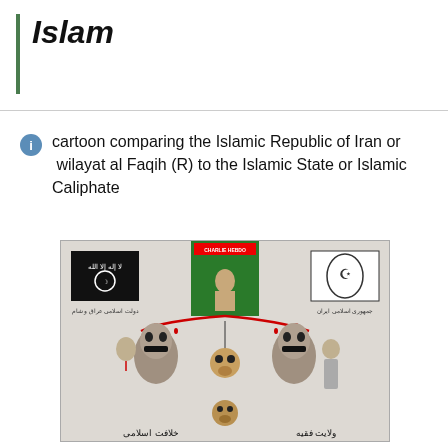Islam
cartoon comparing the Islamic Republic of Iran or wilayat al Faqih (R) to the Islamic State or Islamic Caliphate
[Figure (illustration): A political cartoon comparing the Islamic Republic of Iran (wilayat al Faqih) to the Islamic State/Islamic Caliphate. Shows two monstrous figures on either side labeled in Persian/Arabic, one with ISIS flag on the left and one with Iranian flag on the right, both holding swords dripping blood, with a monkey puppet figure in the center suspended by strings from a Charlie Hebdo magazine cover image at the top. Arabic/Persian text labels at bottom read 'Islamic Caliphate' (left) and 'Velayat-e Faqih' (right).]